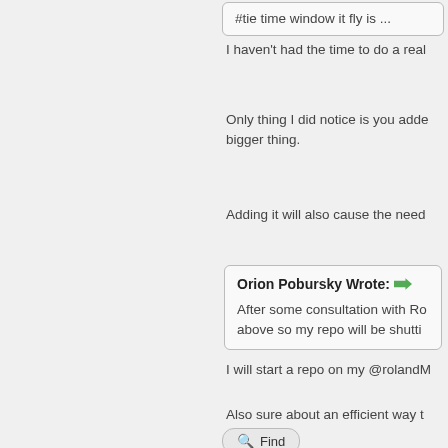I haven't had the time to do a real
Only thing I did notice is you added bigger thing.
Adding it will also cause the need
Orion Pobursky Wrote: → After some consultation with Ro above so my repo will be shutti
I will start a repo on my @rolandM
Also sure about an efficient way t
[Figure (screenshot): Find button with magnifying glass icon]
[Figure (screenshot): Bottom panel with avatar and Roland Mallo name in purple]